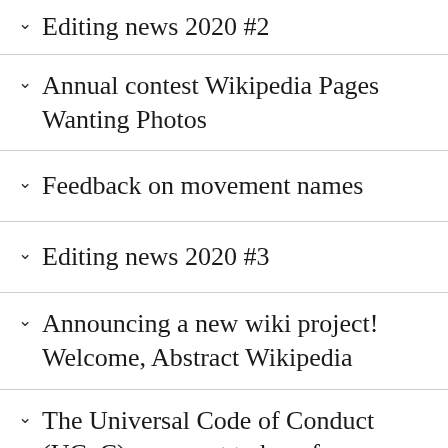Editing news 2020 #2
Annual contest Wikipedia Pages Wanting Photos
Feedback on movement names
Editing news 2020 #3
Announcing a new wiki project! Welcome, Abstract Wikipedia
The Universal Code of Conduct (UCoC): we want to hear from you